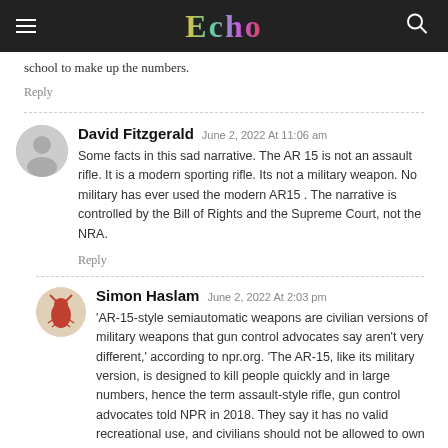Echo
school to make up the numbers.
Reply
David Fitzgerald  June 2, 2022 At 11:06 am
Some facts in this sad narrative. The AR 15 is not an assault rifle. It is a modern sporting rifle. Its not a military weapon. No military has ever used the modern AR15 . The narrative is controlled by the Bill of Rights and the Supreme Court, not the NRA.
Reply
Simon Haslam  June 2, 2022 At 2:03 pm
'AR-15-style semiautomatic weapons are civilian versions of military weapons that gun control advocates say aren't very different,' according to npr.org. 'The AR-15, like its military version, is designed to kill people quickly and in large numbers, hence the term assault-style rifle, gun control advocates told NPR in 2018. They say it has no valid recreational use, and civilians should not be allowed to own them. The gun industry...